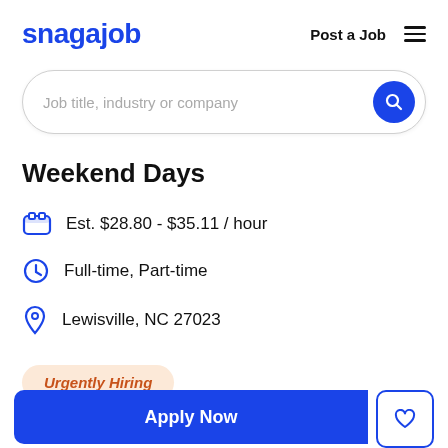snagajob | Post a Job
[Figure (screenshot): Search bar with placeholder text: Job title, industry or company, and a blue circular search button on the right]
Weekend Days
Est. $28.80 - $35.11 / hour
Full-time, Part-time
Lewisville, NC 27023
Urgently Hiring
Apply Now